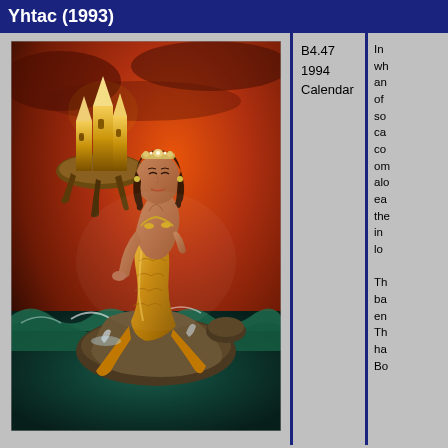Yhtac (1993)
[Figure (illustration): Fantasy painting of a golden mermaid seated on a rock amid ocean waves, with a jeweled flying castle in the upper left background and stormy orange-red sky. The mermaid has dark hair, a headpiece, and a golden fish tail.]
B4.47
1994 Calendar
In ... who... an... of... so... ca... co... om... alo... ea... the... in... lo...

Th... ba... en... Th... ha... Bo...